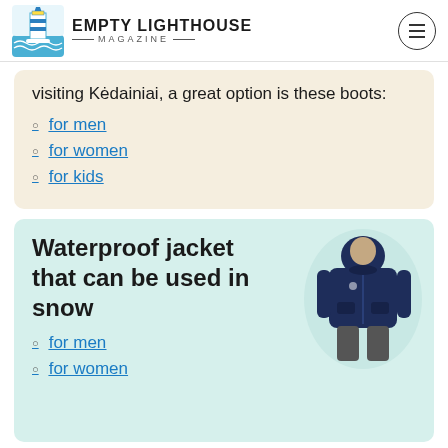EMPTY LIGHTHOUSE MAGAZINE
visiting Kėdainiai, a great option is these boots:
for men
for women
for kids
Waterproof jacket that can be used in snow
[Figure (photo): Man wearing a navy blue waterproof hooded jacket against white background]
for men
for women